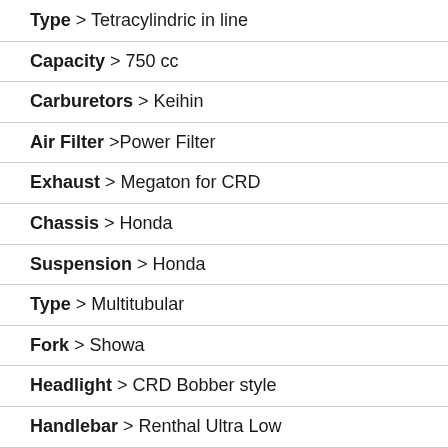Type > Tetracylindric in line
Capacity > 750 cc
Carburetors > Keihin
Air Filter >Power Filter
Exhaust > Megaton for CRD
Chassis > Honda
Suspension > Honda
Type > Multitubular
Fork > Showa
Headlight > CRD Bobber style
Handlebar > Renthal Ultra Low
Starter > Clausor
Speedometer > Motogadget Tiny